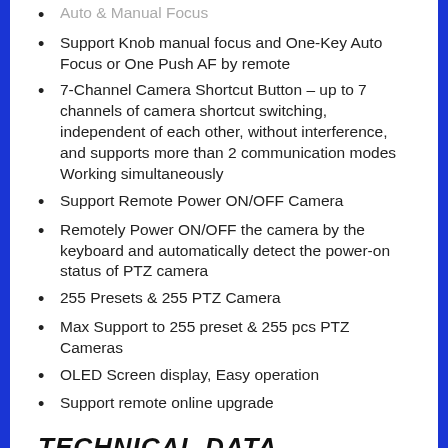Auto & Manual Focus
Support Knob manual focus and One-Key Auto Focus or One Push AF by remote
7-Channel Camera Shortcut Button – up to 7 channels of camera shortcut switching, independent of each other, without interference, and supports more than 2 communication modes Working simultaneously
Support Remote Power ON/OFF Camera
Remotely Power ON/OFF the camera by the keyboard and automatically detect the power-on status of PTZ camera
255 Presets & 255 PTZ Camera
Max Support to 255 preset & 255 pcs PTZ Cameras
OLED Screen display, Easy operation
Support remote online upgrade
TECHNICAL DATA